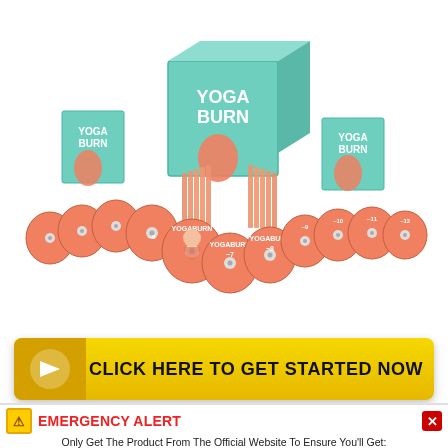[Figure (photo): Yoga Burn product box set with multiple DVDs arranged in a curved row below three product boxes. The boxes are teal/mint colored with 'YOGA BURN' text and feature a woman in yoga pose. Multiple salmon/coral colored discs are spread out in front.]
[Figure (infographic): Yellow gradient CTA button with orange arrow icon on left and bold text 'CLICK HERE TO GET STARTED NOW' in black capitals.]
[Figure (infographic): Emergency alert banner: warning icon, red 'EMERGENCY ALERT' text, close X button, text about getting product from official website, checkmarks for '100% Genuine Product', '60 Days Money Back Guarantee', '24/7 Support', and a green 'Click Here for the Official Website' button.]